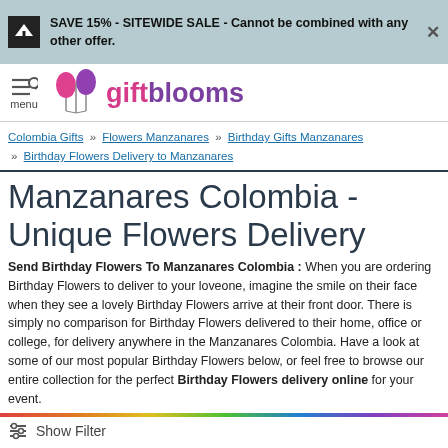SAVE 15% - SITEWIDE SALE - Cannot be combined with any other offer.
[Figure (logo): GiftBlooms logo with pink and purple balloon icons]
Colombia Gifts » Flowers Manzanares » Birthday Gifts Manzanares » Birthday Flowers Delivery to Manzanares
Manzanares Colombia - Unique Flowers Delivery
Send Birthday Flowers To Manzanares Colombia : When you are ordering Birthday Flowers to deliver to your loveone, imagine the smile on their face when they see a lovely Birthday Flowers arrive at their front door. There is simply no comparison for Birthday Flowers delivered to their home, office or college, for delivery anywhere in the Manzanares Colombia. Have a look at some of our most popular Birthday Flowers below, or feel free to browse our entire collection for the perfect Birthday Flowers delivery online for your event.
Show Filter